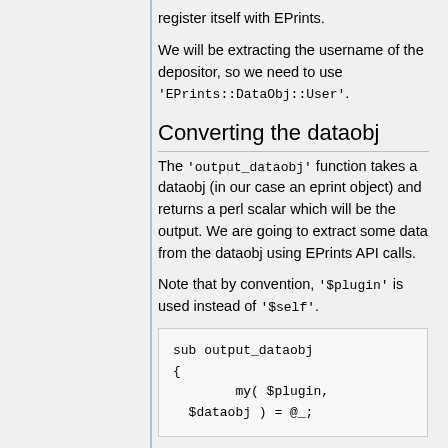register itself with EPrints.
We will be extracting the username of the depositor, so we need to use 'EPrints::DataObj::User'.
Converting the dataobj
The 'output_dataobj' function takes a dataobj (in our case an eprint object) and returns a perl scalar which will be the output. We are going to extract some data from the dataobj using EPrints API calls.
Note that by convention, '$plugin' is used instead of '$self'.
sub output_dataobj
{
        my( $plugin,
  $dataobj ) = @_;